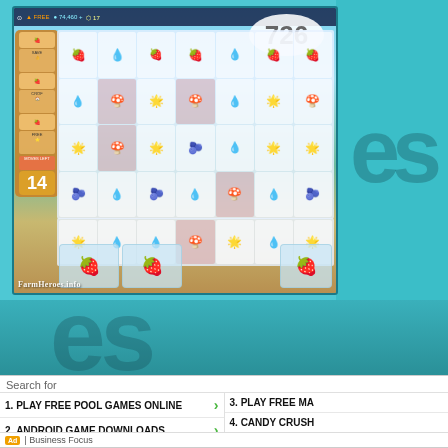[Figure (screenshot): Farm Heroes Saga mobile game screenshot showing a match-3 puzzle board with strawberries, mushrooms, water drops, suns, and onion characters. Score shows 726, moves left: 14. Bottom watermark reads FARMHEROES.INFO]
[Figure (screenshot): Dark teal/green background section with shadow text of game logo elements]
Search for
1. PLAY FREE POOL GAMES ONLINE
2. ANDROID GAME DOWNLOADS
3. PLAY FREE MA
4. CANDY CRUSH
Ad | Business Focus